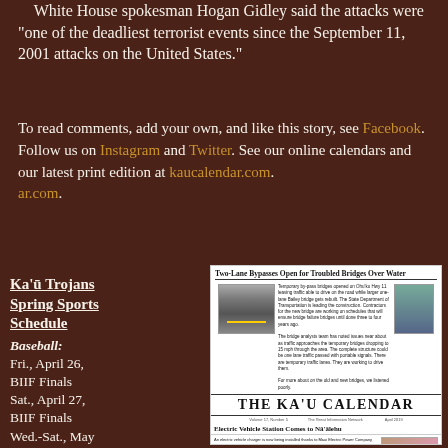White House spokesman Hogan Gidley said the attacks were "one of the deadliest terrorist events since the September 11, 2001 attacks on the United States."
To read comments, add your own, and like this story, see Facebook. Follow us on Instagram and Twitter. See our online calendars and our latest print edition at kaucalendar.com. ar.com.
Ka'ū Trojans Spring Sports Schedule
Baseball: Fri., April 26, BIIF Finals
Sat., April 27, BIIF Finals
Wed.-Sat., May 8-11, HHSAA
Softball: Wed., May 1-4, HHSAA
[Figure (screenshot): Screenshot of The Ka'u Calendar newspaper front page showing headlines: 'Two-Lane Bypasses Open for Troubled Bridges Over Water', 'THE KA'U CALENDAR', 'Electric Vehicle Station Comes to Na'alehu', 'Planning Commissioner Replogle Takes Down Water Bottling Plant']